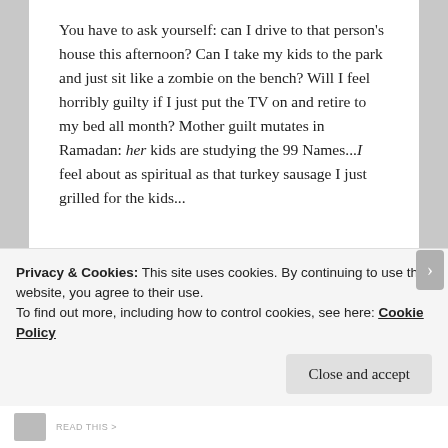You have to ask yourself: can I drive to that person's house this afternoon? Can I take my kids to the park and just sit like a zombie on the bench? Will I feel horribly guilty if I just put the TV on and retire to my bed all month? Mother guilt mutates in Ramadan: her kids are studying the 99 Names...I feel about as spiritual as that turkey sausage I just grilled for the kids...
[Figure (photo): A decorative ceramic bowl with colorful painted patterns filled with grilled turkey sausages, roasted potatoes and vegetables, with a spoon, on a green and white checkered tablecloth.]
Privacy & Cookies: This site uses cookies. By continuing to use this website, you agree to their use.
To find out more, including how to control cookies, see here: Cookie Policy
Close and accept